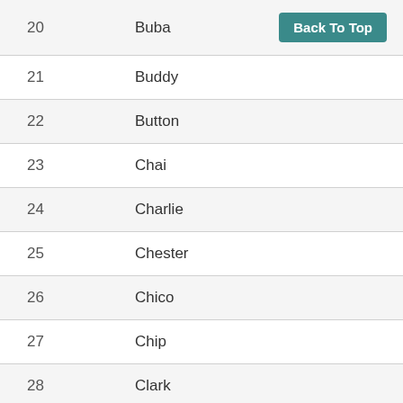| # | Name |  |
| --- | --- | --- |
| 20 | Buba | Back To Top |
| 21 | Buddy |  |
| 22 | Button |  |
| 23 | Chai |  |
| 24 | Charlie |  |
| 25 | Chester |  |
| 26 | Chico |  |
| 27 | Chip |  |
| 28 | Clark |  |